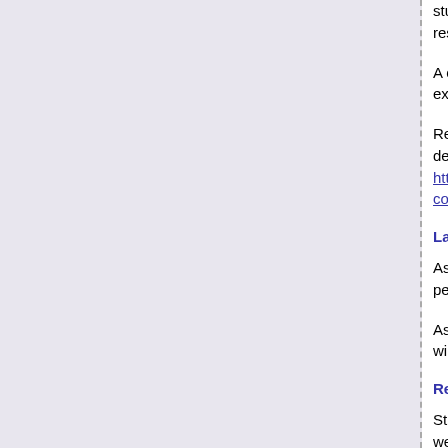students via ema... reserves the righ...
A copy of the em... extension must b...
Refer to the Facu... details and to acc... http://www.infote... consideration.htn...
Late assignment
Assignments rec... penalty of 5% for...
Assignments rec... will not normally...
Return dates
Students can exp... weeks of the sub... later.